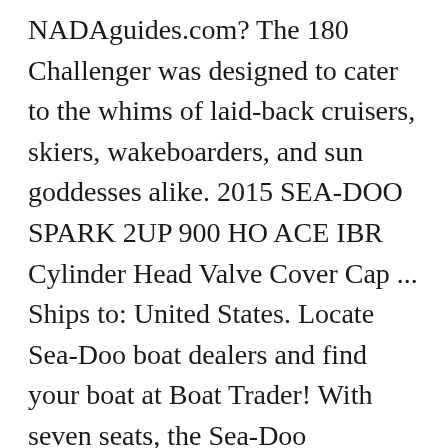NADAguides.com? The 180 Challenger was designed to cater to the whims of laid-back cruisers, skiers, wakeboarders, and sun goddesses alike. 2015 SEA-DOO SPARK 2UP 900 HO ACE IBR Cylinder Head Valve Cover Cap ... Ships to: United States. Locate Sea-Doo boat dealers and find your boat at Boat Trader! With seven seats, the Sea-Doo Challenger 1800 is one of the biggest and fastest jetboats on the water today. $102.32 shipping. Compare vehicle values in USA. Powered by 215 supercharged, intercooled horses. Sport Boat Series CHALLENGER 180 CS(*) Specs . 2003 Sea Doo Challenger with Freeride Tower View. ... Insure your 2006 Sea-Doo/BRP CHALLENGER 180